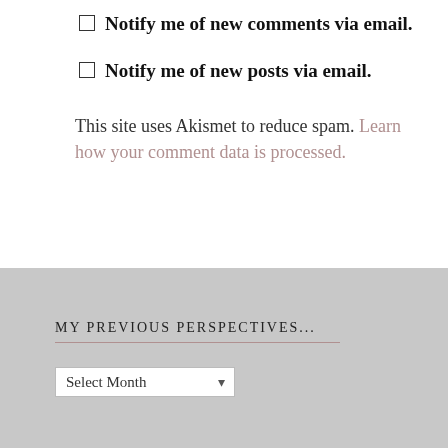Notify me of new comments via email.
Notify me of new posts via email.
This site uses Akismet to reduce spam. Learn how your comment data is processed.
MY PREVIOUS PERSPECTIVES...